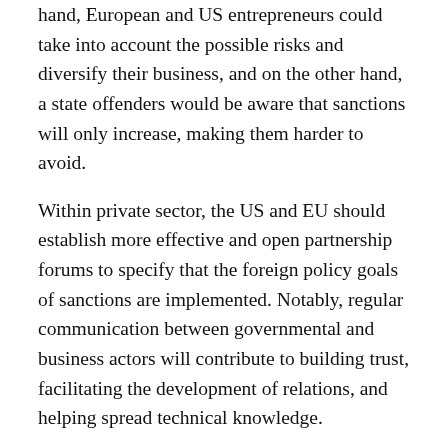hand, European and US entrepreneurs could take into account the possible risks and diversify their business, and on the other hand, a state offenders would be aware that sanctions will only increase, making them harder to avoid.
Within private sector, the US and EU should establish more effective and open partnership forums to specify that the foreign policy goals of sanctions are implemented. Notably, regular communication between governmental and business actors will contribute to building trust, facilitating the development of relations, and helping spread technical knowledge.
In order to more effectively design sanctions that achieve stated goals, the US and EU should identify the keys targets areas. In the case of Russia, energy is the most important resource for its budget, military,